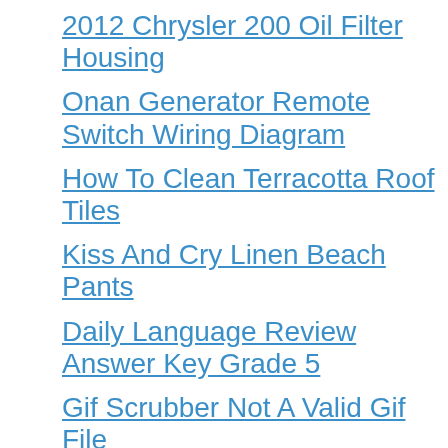2012 Chrysler 200 Oil Filter Housing
Onan Generator Remote Switch Wiring Diagram
How To Clean Terracotta Roof Tiles
Kiss And Cry Linen Beach Pants
Daily Language Review Answer Key Grade 5
Gif Scrubber Not A Valid Gif File
Oh What A Night Piano Sheet Music Free
Que Significa Soñar Garrapatas En Un Perro
Kimball St Manchester Nh
Kevin De Leon Youtube Net Worth
Free Winnie The Pooh Plastic Canvas Patterns
New Moon Book Pdf Free Download
...Torta Hildegher Bacon Strapless Photo...